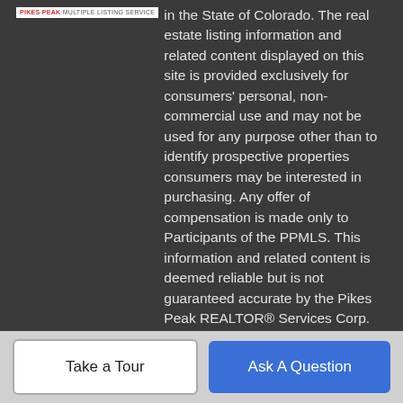[Pikes Peak Multiple Listing Service logo] in the State of Colorado. The real estate listing information and related content displayed on this site is provided exclusively for consumers' personal, non-commercial use and may not be used for any purpose other than to identify prospective properties consumers may be interested in purchasing. Any offer of compensation is made only to Participants of the PPMLS. This information and related content is deemed reliable but is not guaranteed accurate by the Pikes Peak REALTOR® Services Corp. Data last updated 2022-08-24T11:40:56.36.
Licensed in the State of Colorado, USA
The content relating to real estate for sale in this Web site comes in part from the Internet Data eXchange (IDX) program of METROLIST, INC., DBA RECOLORADO®. Real estate listings held by brokers other than The Armour Team Real Estate Inc. are marked with the IDX Logo. This information is being provided for
Take a Tour
Ask A Question